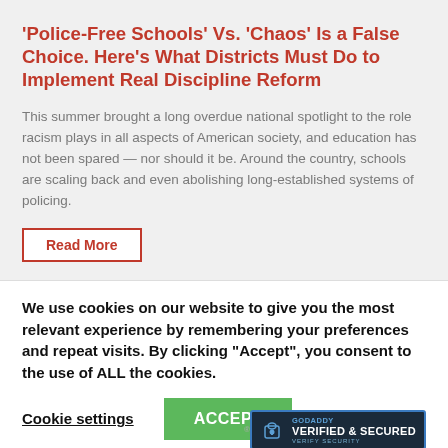'Police-Free Schools' Vs. 'Chaos' Is a False Choice. Here's What Districts Must Do to Implement Real Discipline Reform
This summer brought a long overdue national spotlight to the role racism plays in all aspects of American society, and education has not been spared — nor should it be. Around the country, schools are scaling back and even abolishing long-established systems of policing.
Read More
We use cookies on our website to give you the most relevant experience by remembering your preferences and repeat visits. By clicking "Accept", you consent to the use of ALL the cookies.
Cookie settings
ACCEPT
[Figure (logo): GoDaddy Verified & Secured badge with lock icon]